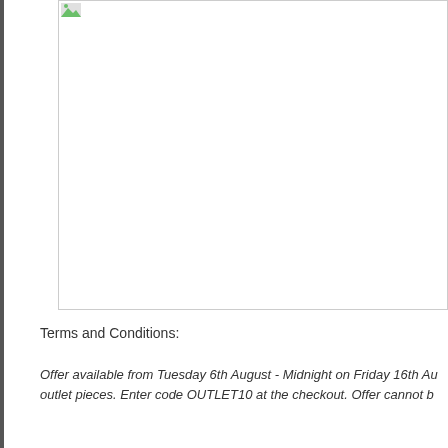[Figure (photo): Large image area, mostly white/blank, with a small green icon in the top-left corner indicating a broken or loading image.]
Terms and Conditions:
Offer available from Tuesday 6th August - Midnight on Friday 16th Au... outlet pieces. Enter code OUTLET10 at the checkout. Offer cannot b...